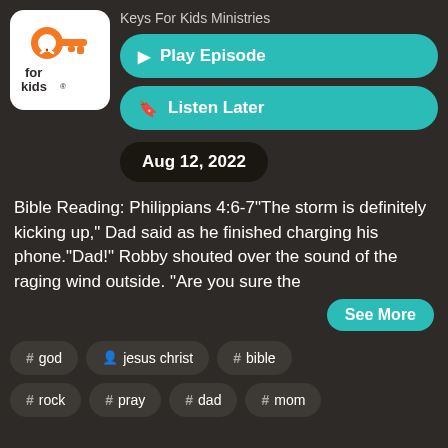[Figure (logo): Keys for Kids logo — orange key with a child figure, text 'for kids' in dark color on white background]
Keys For Kids Ministries
Play Episode
Listen Later
Aug 12, 2022
Bible Reading: Philippians 4:6-7"The storm is definitely kicking up," Dad said as he finished charging his phone."Dad!" Robby shouted over the sound of the raging wind outside. "Are you sure the
See More
# god
jesus christ
# bible
# rock
# pray
# dad
# mom